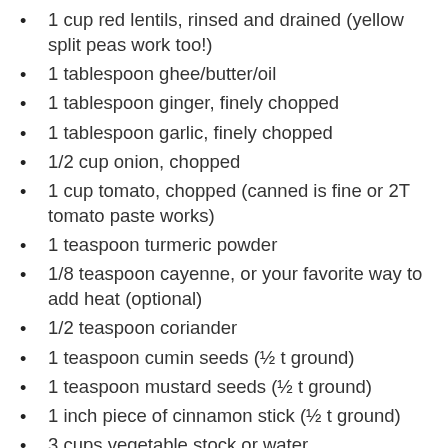1 cup red lentils, rinsed and drained (yellow split peas work too!)
1 tablespoon ghee/butter/oil
1 tablespoon ginger, finely chopped
1 tablespoon garlic, finely chopped
1/2 cup onion, chopped
1 cup tomato, chopped (canned is fine or 2T tomato paste works)
1 teaspoon turmeric powder
1/8 teaspoon cayenne, or your favorite way to add heat (optional)
1/2 teaspoon coriander
1 teaspoon cumin seeds (½ t ground)
1 teaspoon mustard seeds (½ t ground)
1 inch piece of cinnamon stick (½ t ground)
3 cups vegetable stock or water
2 cups chopped greens (kale, chard, turnip,